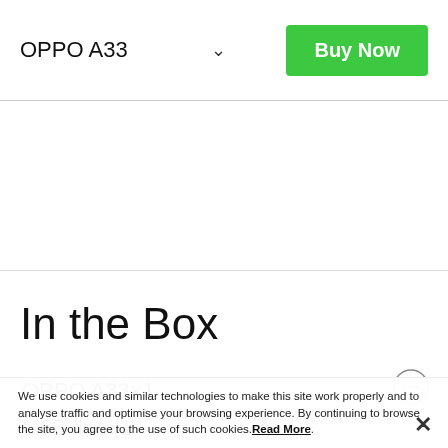OPPO A33   ˅   Buy Now
In the Box
OPPO A33×1
USB line×1
We use cookies and similar technologies to make this site work properly and to analyse traffic and optimise your browsing experience. By continuing to browse the site, you agree to the use of such cookies. Read More.